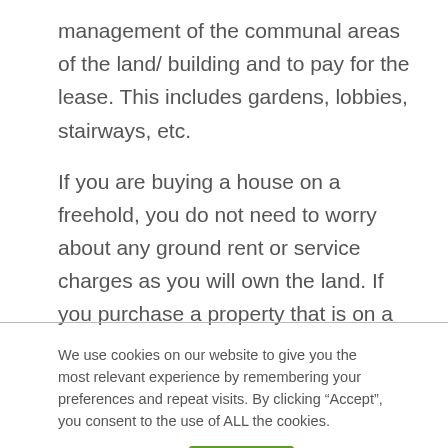management of the communal areas of the land/ building and to pay for the lease. This includes gardens, lobbies, stairways, etc.

If you are buying a house on a freehold, you do not need to worry about any ground rent or service charges as you will own the land. If you purchase a property that is on a leasehold, typically found with flats/ apartments, you will
We use cookies on our website to give you the most relevant experience by remembering your preferences and repeat visits. By clicking “Accept”, you consent to the use of ALL the cookies.
Cookie settings
Accept